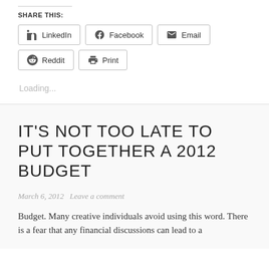SHARE THIS:
LinkedIn  Facebook  Email  Reddit  Print
Loading...
IT'S NOT TOO LATE TO PUT TOGETHER A 2012 BUDGET
March 6, 2012   Leave a comment
Budget.  Many creative individuals avoid using this word. There is a fear that any financial discussions can lead to a